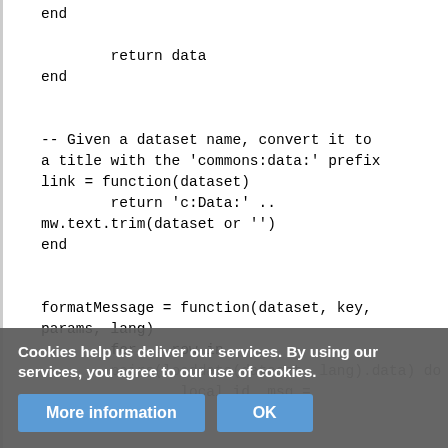end
        return data
end


-- Given a dataset name, convert it to a title with the 'commons:data:' prefix
link = function(dataset)
        return 'c:Data:' ..
mw.text.trim(dataset or '')
end


formatMessage = function(dataset, key, params, lang)
        for _, row in
        pairs(loaddata(dataset, lang).data) do
                local id, msg =
        unpack(ro
[Figure (screenshot): Cookie consent overlay with text 'Cookies help us deliver our services. By using our services, you agree to our use of cookies.' and two buttons: 'More information' and 'OK']